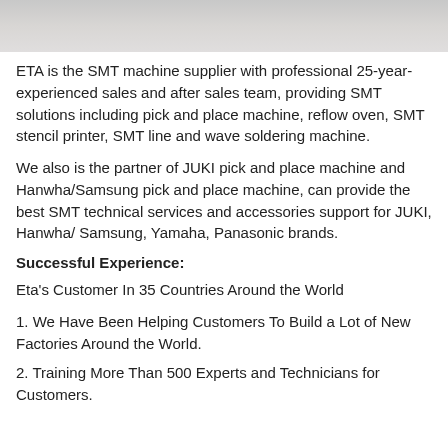[Figure (photo): Grey/white image at top of page, appears to be a photo of machinery or equipment]
ETA is the SMT machine supplier with professional 25-year-experienced sales and after sales team, providing SMT solutions including pick and place machine, reflow oven, SMT stencil printer, SMT line and wave soldering machine.
We also is the partner of JUKI pick and place machine and Hanwha/Samsung pick and place machine, can provide the best SMT technical services and accessories support for JUKI, Hanwha/ Samsung, Yamaha, Panasonic brands.
Successful Experience:
Eta's Customer In 35 Countries Around the World
1. We Have Been Helping Customers To Build a Lot of New Factories Around the World.
2. Training More Than 500 Experts and Technicians for Customers.